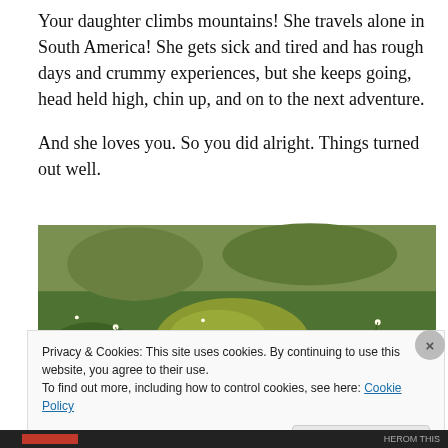Your daughter climbs mountains! She travels alone in South America! She gets sick and tired and has rough days and crummy experiences, but she keeps going, head held high, chin up, and on to the next adventure.

And she loves you. So you did alright. Things turned out well.
[Figure (photo): A close-up photograph of green leafy plants with small white flowers and moss growing on the ground outdoors.]
Privacy & Cookies: This site uses cookies. By continuing to use this website, you agree to their use.
To find out more, including how to control cookies, see here: Cookie Policy
Close and accept